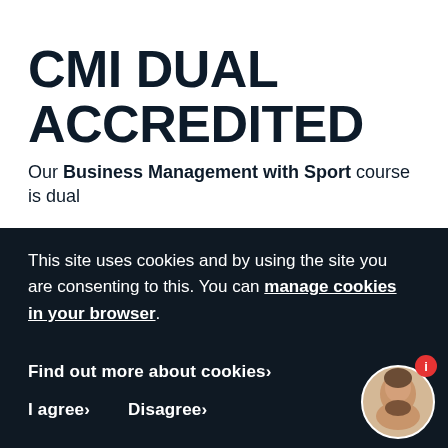CMI DUAL ACCREDITED
Our Business Management with Sport course is dual
This site uses cookies and by using the site you are consenting to this. You can manage cookies in your browser.
Find out more about cookies›
I agree›   Disagree›
[Figure (photo): Circular avatar photo of a young man with beard, with a red info badge in top-right of the circle]